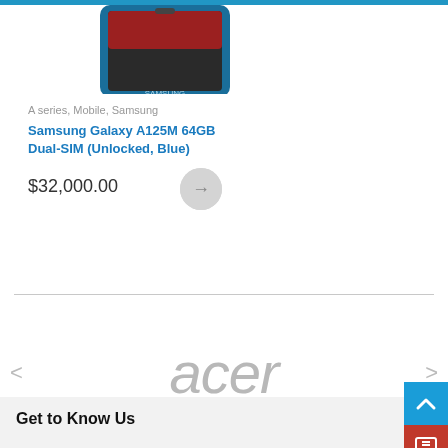[Figure (photo): Samsung Galaxy A125M smartphone in blue color, partial top view of product card]
A series, Mobile, Samsung
Samsung Galaxy A125M 64GB Dual-SIM (Unlocked, Blue)
$32,000.00
[Figure (logo): Acer brand logo in gray italic text, displayed in a brand carousel with left and right navigation arrows]
[Figure (other): Scroll-to-top blue button with up arrow, and red chat/message button below it]
Get to Know Us